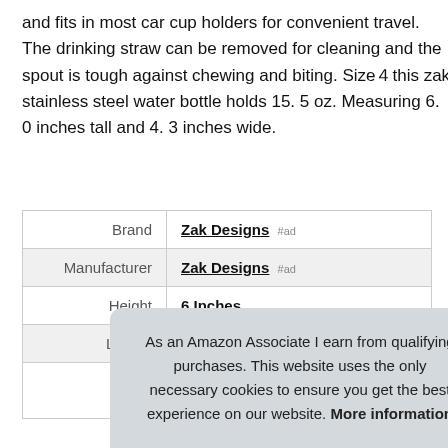and fits in most car cup holders for convenient travel. The drinking straw can be removed for cleaning and the spout is tough against chewing and biting. Sizeÿthis zak stainless steel water bottle holds 15. 5 oz. Measuring 6. 0 inches tall and 4. 3 inches wide.
|  |  |
| --- | --- |
| Brand | Zak Designs #ad |
| Manufacturer | Zak Designs #ad |
| Height | 6 Inches |
| Length | 4.3 Inches |
| P... |  |
As an Amazon Associate I earn from qualifying purchases. This website uses the only necessary cookies to ensure you get the best experience on our website. More information